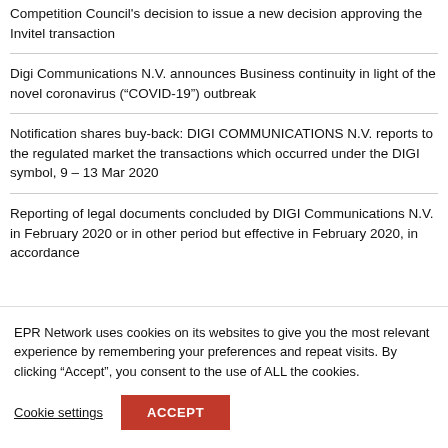Competition Council's decision to issue a new decision approving the Invitel transaction
Digi Communications N.V. announces Business continuity in light of the novel coronavirus (“COVID-19”) outbreak
Notification shares buy-back: DIGI COMMUNICATIONS N.V. reports to the regulated market the transactions which occurred under the DIGI symbol, 9 – 13 Mar 2020
Reporting of legal documents concluded by DIGI Communications N.V. in February 2020 or in other period but effective in February 2020, in accordance
EPR Network uses cookies on its websites to give you the most relevant experience by remembering your preferences and repeat visits. By clicking “Accept”, you consent to the use of ALL the cookies.
Cookie settings
ACCEPT